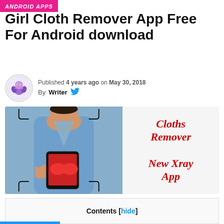ANDROID APPS
Girl Cloth Remover App Free For Android download
Published 4 years ago on May 30, 2018
By Writer
[Figure (photo): Promotional image showing a person holding a smartphone in front of a woman in a blue outfit. The phone screen displays a woman in a red bra. The right side of the image has large red italic text reading 'Cloths Remover New Xray App'.]
Contents [hide]